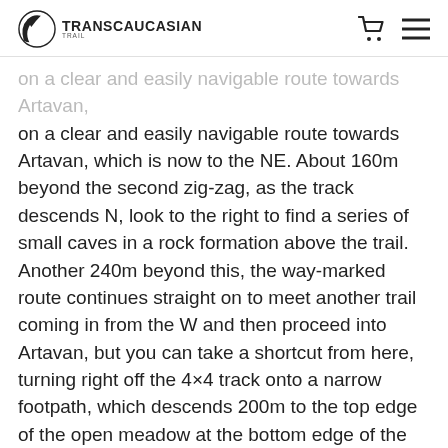TRANSCAUCASIAN TRAIL
on a clear and easily navigable route towards Artavan, which is now to the NE. About 160m beyond the second zig-zag, as the track descends N, look to the right to find a series of small caves in a rock formation above the trail. Another 240m beyond this, the way-marked route continues straight on to meet another trail coming in from the W and then proceed into Artavan, but you can take a shortcut from here, turning right off the 4×4 track onto a narrow footpath, which descends 200m to the top edge of the open meadow at the bottom edge of the forest. Continue across the meadow in the same direction for another 200m to meet the junction with the way-marked trail, which now follows a dirt road NE with a small river to your right.